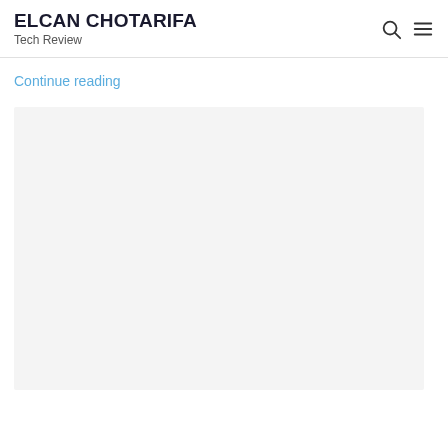ELCAN CHOTARIFA Tech Review
Continue reading
[Figure (other): Large light gray placeholder image block]